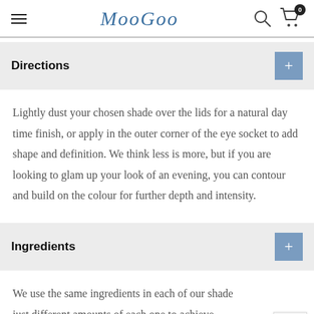MooGoo
Directions
Lightly dust your chosen shade over the lids for a natural day time finish, or apply in the outer corner of the eye socket to add shape and definition. We think less is more, but if you are looking to glam up your look of an evening, you can contour and build on the colour for further depth and intensity.
Ingredients
We use the same ingredients in each of our shades, just different amounts of each one to achieve variation. Zinc Stearate, Zea Mays (Corn) Starch,